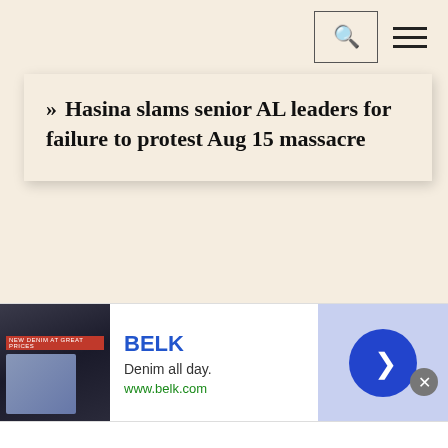Navigation bar with search and menu icons
» Hasina slams senior AL leaders for failure to protest Aug 15 massacre
[Figure (screenshot): Advertisement banner for BELK showing denim clothing. Tagline: Denim all day. URL: www.belk.com. Has a close button and a navigation arrow.]